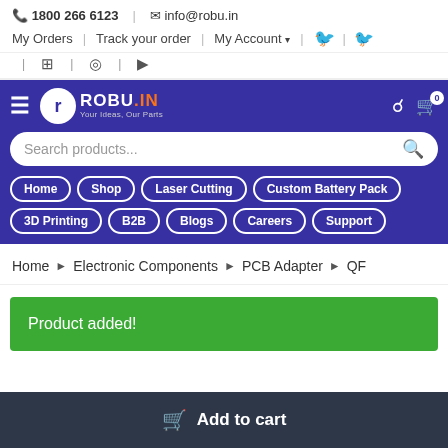📞 1800 266 6123 | ✉ info@robu.in
My Orders | Track your order | My Account ▾ | Facebook | Twitter
LinkedIn | Instagram | YouTube
ROBU.IN — Your Ideas, Our Parts — navigation: Home, Shop, Laser Cutting, Custom Battery Pack, 3D Printing, B2B, Blogs, Careers, Support
Search products...
Home > Electronic Components > PCB Adapter > QF...
Product added!
Add to cart